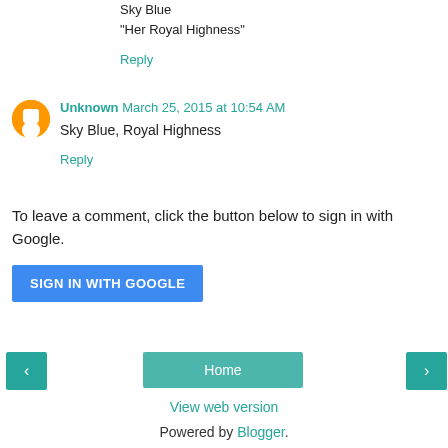Sky Blue
"Her Royal Highness"
Reply
Unknown March 25, 2015 at 10:54 AM
Sky Blue, Royal Highness
Reply
To leave a comment, click the button below to sign in with Google.
SIGN IN WITH GOOGLE
Home
View web version
Powered by Blogger.